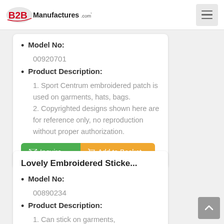B2BManufactures.com
Model No: 00920701
Product Description: 1. Sport Centrum embroidered patch is used on garments, hats, bags. 2. Copyrighted designs shown here are for reference only, no reproduction without proper authorization.
Inquire | Add to Basket
Lovely Embroidered Sticke...
Model No: 00890234
Product Description: 1. Can stick on garments,